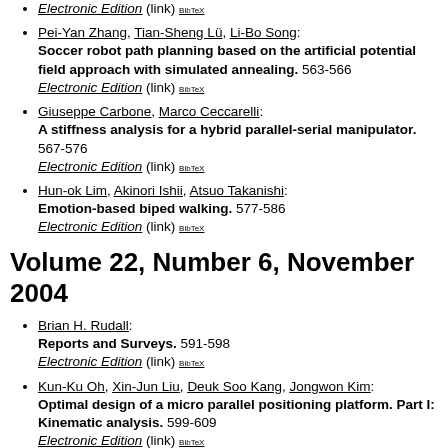Electronic Edition (link) BibTeX
Pei-Yan Zhang, Tian-Sheng Lü, Li-Bo Song: Soccer robot path planning based on the artificial potential field approach with simulated annealing. 563-566 Electronic Edition (link) BibTeX
Giuseppe Carbone, Marco Ceccarelli: A stiffness analysis for a hybrid parallel-serial manipulator. 567-576 Electronic Edition (link) BibTeX
Hun-ok Lim, Akinori Ishii, Atsuo Takanishi: Emotion-based biped walking. 577-586 Electronic Edition (link) BibTeX
Volume 22, Number 6, November 2004
Brian H. Rudall: Reports and Surveys. 591-598 Electronic Edition (link) BibTeX
Kun-Ku Oh, Xin-Jun Liu, Deuk Soo Kang, Jongwon Kim: Optimal design of a micro parallel positioning platform. Part I: Kinematic analysis. 599-609 Electronic Edition (link) BibTeX
Yangmin Li, Sio Hong Leong: Kinematics control of redundant manipulators using a